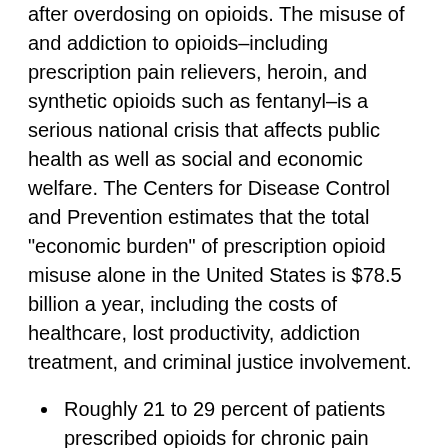after overdosing on opioids. The misuse of and addiction to opioids–including prescription pain relievers, heroin, and synthetic opioids such as fentanyl–is a serious national crisis that affects public health as well as social and economic welfare. The Centers for Disease Control and Prevention estimates that the total "economic burden" of prescription opioid misuse alone in the United States is $78.5 billion a year, including the costs of healthcare, lost productivity, addiction treatment, and criminal justice involvement.
Roughly 21 to 29 percent of patients prescribed opioids for chronic pain misuse them.
Between 8 and 12 percent develop an opioid use disorder.
An estimated 4 to 6 percent who misuse prescription opioids transition to heroin.
About 80 percent of people who use heroin first misused prescription opioids.